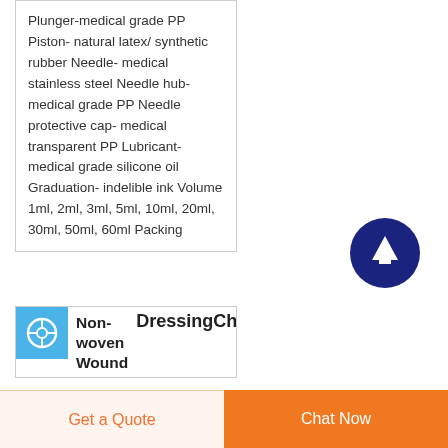Plunger-medical grade PP Piston- natural latex/ synthetic rubber Needle- medical stainless steel Needle hub- medical grade PP Needle protective cap- medical transparent PP Lubricant- medical grade silicone oil Graduation- indelible ink Volume 1ml, 2ml, 3ml, 5ml, 10ml, 20ml, 30ml, 50ml, 60ml Packing
[Figure (other): Dark navy blue circular button with upward arrow icon]
[Figure (logo): Light blue square icon with circular medical symbol]
Non-woven Wound DressingChina
Get a Quote    Chat Now